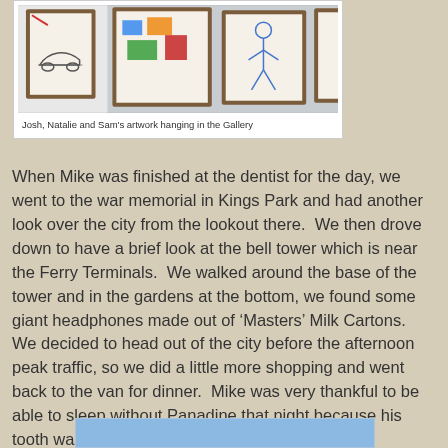[Figure (photo): Framed children's artworks hanging on a gallery wall, showing drawings including a car and other colorful artworks in wooden frames]
Josh, Natalie and Sam’s artwork hanging in the Gallery
When Mike was finished at the dentist for the day, we went to the war memorial in Kings Park and had another look over the city from the lookout there.  We then drove down to have a brief look at the bell tower which is near the Ferry Terminals.  We walked around the base of the tower and in the gardens at the bottom, we found some giant headphones made out of ‘Masters’ Milk Cartons.  We decided to head out of the city before the afternoon peak traffic, so we did a little more shopping and went back to the van for dinner.  Mike was very thankful to be able to sleep without Panadine that night because his tooth was no longer throbbing.
[Figure (photo): Partial view of a photo or image at the bottom of the page, mostly cut off]